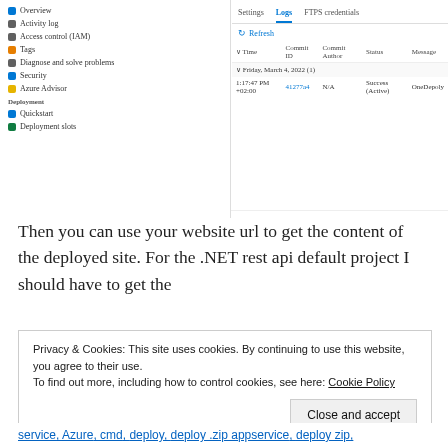[Figure (screenshot): Azure App Service deployment logs screenshot showing sidebar navigation and deployment log table with columns: Time, Commit ID, Commit Author, Status, Message. Shows a successful deploy on Friday, March 4, 2022.]
Then you can use your website url to get the content of the deployed site. For the .NET rest api default project I should have to get the
[Figure (screenshot): Code block with monospace text: url/weatherforecast on a light gray background]
Privacy & Cookies: This site uses cookies. By continuing to use this website, you agree to their use. To find out more, including how to control cookies, see here: Cookie Policy
Close and accept
service, Azure, cmd, deploy, deploy .zip appservice, deploy zip,